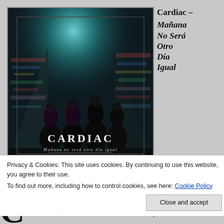[Figure (photo): Album cover art for Cardiac - Mañana No Será Otro Día Igual. Shows four figures (band members) from behind standing in a graffiti-covered tunnel with teal/blue lighting. Text reads CARDIAC and Mañana no sera otro dia igual at the bottom.]
Cardiac – Mañana No Será Otro Día Igual
Privacy & Cookies: This site uses cookies. By continuing to use this website, you agree to their use.
To find out more, including how to control cookies, see here: Cookie Policy
Based in Switzerland, Cardiac have been around for nearly